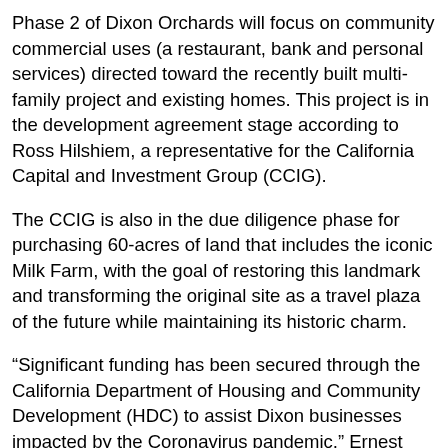Phase 2 of Dixon Orchards will focus on community commercial uses (a restaurant, bank and personal services) directed toward the recently built multi-family project and existing homes. This project is in the development agreement stage according to Ross Hilshiem, a representative for the California Capital and Investment Group (CCIG).
The CCIG is also in the due diligence phase for purchasing 60-acres of land that includes the iconic Milk Farm, with the goal of restoring this landmark and transforming the original site as a travel plaza of the future while maintaining its historic charm.
“Significant funding has been secured through the California Department of Housing and Community Development (HDC) to assist Dixon businesses impacted by the Coronavirus pandemic,” Ernest added.
Sonoma Springs Brewing Company opened a restaurant